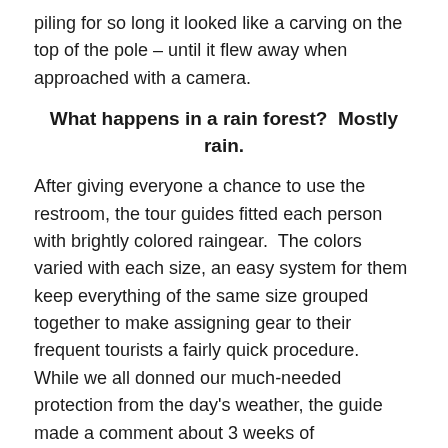piling for so long it looked like a carving on the top of the pole – until it flew away when approached with a camera.
What happens in a rain forest?  Mostly rain.
After giving everyone a chance to use the restroom, the tour guides fitted each person with brightly colored raingear.  The colors varied with each size, an easy system for them keep everything of the same size grouped together to make assigning gear to their frequent tourists a fairly quick procedure.  While we all donned our much-needed protection from the day's weather, the guide made a comment about 3 weeks of unseasonably nice weather having just ended.  Oh well, it is a rainforest after all.  We got rained on in the rainforest in Australia, (yes Australia does have rainforests.)  Might as well get rained on in the rainforest of Alaska as well.